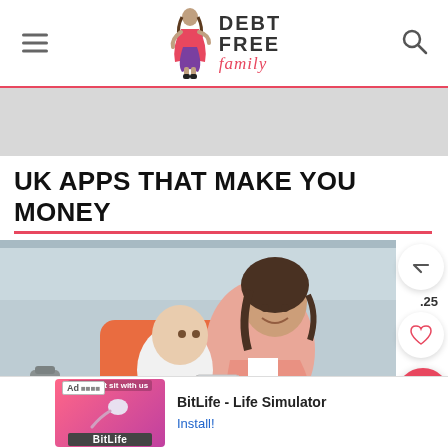DEBT FREE family — website header with logo and navigation
[Figure (photo): Gray advertisement banner placeholder]
UK APPS THAT MAKE YOU MONEY
[Figure (photo): Woman smiling and holding a baby, seated in an orange chair in a kitchen setting]
[Figure (screenshot): Bottom ad banner: BitLife - Life Simulator app ad with Install button]